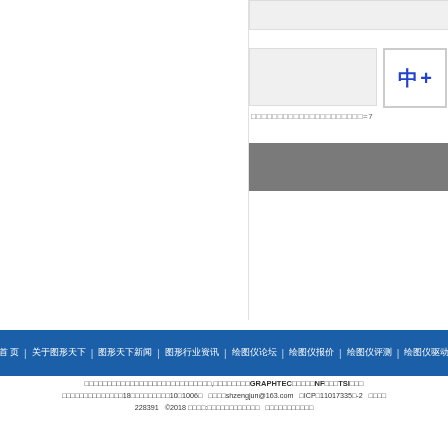[Figure (screenshot): Gray input box UI element at top of right panel]
[Figure (screenshot): Gray image placeholder box and thumbnail with Chinese character plus sign]
□□□□□□□□□□□□□□□□□□□□□=7
[Figure (screenshot): Gray button/bar element]
首 页 | 关于图形天下 | 图形天下新闻 | 图形行业资讯 | 绘图仪论坛 | 绘图仪报价 | 绘图仪评测 | 绘图仪驱动
图形天下是专注绘图仪行业的中国专业网站,合作伙伴包括GRAPHTEC品牌及NF品牌和TSI品牌等
上海市普陀区金沙江路18号万里城商务楼10栋1006室   邮箱：shzengjun@163.com   沪ICP备11017335号-2   沪公网安备31010602228391   ©2018 版权所有:上海增峻机电科技有限公司   沪ICP备11017335号-2